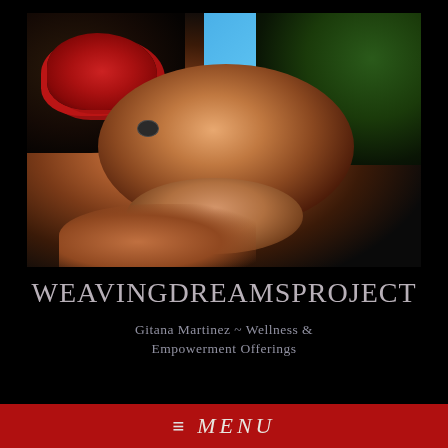[Figure (photo): A woman with dark curly hair and a large red flower in her hair, smiling and looking upward with her hands clasped under her chin, photographed outdoors against a blue sky and trees.]
WEAVINGDREAMSPROJECT
Gitana Martinez ~ Wellness & Empowerment Offerings
≡ MENU